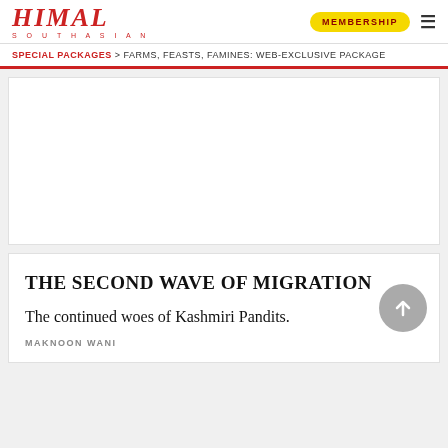HIMAL SOUTHASIAN
SPECIAL PACKAGES > FARMS, FEASTS, FAMINES: WEB-EXCLUSIVE PACKAGE
[Figure (other): Advertisement card with white background]
THE SECOND WAVE OF MIGRATION
The continued woes of Kashmiri Pandits.
MAKNOON WANI